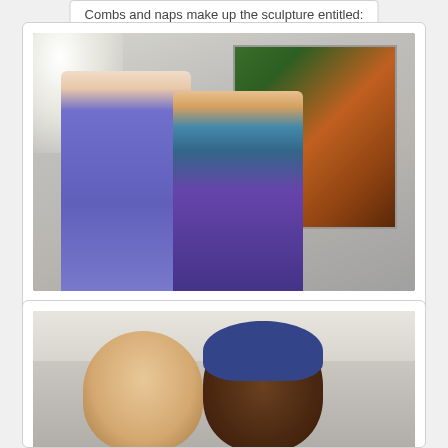Combs and naps make up the sculpture entitled:
[Figure (photo): Two women posing together in an art gallery. The woman on the left wears a purple/blue dress and has long dark hair. The woman on the right wears a colorful patterned dress. Behind them is a large painting on the wall.]
Tovah- by far one of the sweetest people I've ever met.
[Figure (photo): Close-up photo of two women posing together. The woman on the left has light skin and blonde/light brown hair. The woman on the right has dark skin and wears a blue head wrap. A white curtain is visible in the background.]